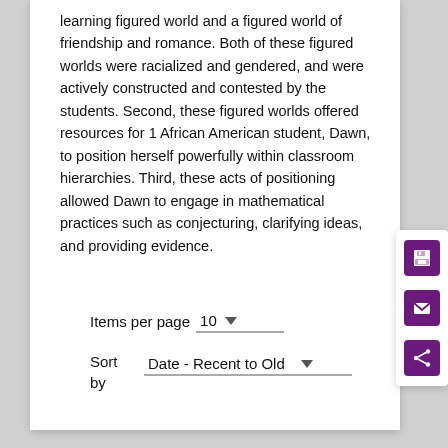learning figured world and a figured world of friendship and romance. Both of these figured worlds were racialized and gendered, and were actively constructed and contested by the students. Second, these figured worlds offered resources for 1 African American student, Dawn, to position herself powerfully within classroom hierarchies. Third, these acts of positioning allowed Dawn to engage in mathematical practices such as conjecturing, clarifying ideas, and providing evidence.
Items per page  10
Sort by  Date - Recent to Old
[Figure (other): Sidebar with three purple icon buttons: save (floppy disk), email (envelope), and share (network share icon)]